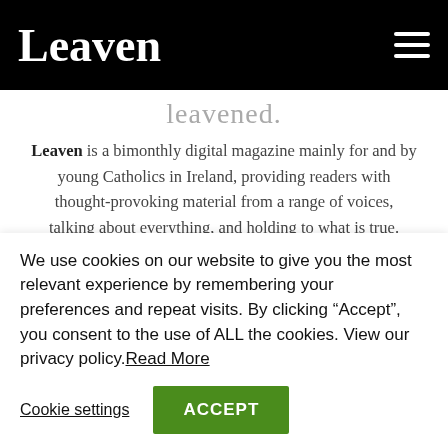Leaven
leavened.
Leaven is a bimonthly digital magazine mainly for and by young Catholics in Ireland, providing readers with thought-provoking material from a range of voices, talking about everything, and holding to what is true. Bringing a spiritual lens to the world, we aim to showcase a coherently and distinctly Irish Catholic
We use cookies on our website to give you the most relevant experience by remembering your preferences and repeat visits. By clicking “Accept”, you consent to the use of ALL the cookies. View our privacy policy.Read More
Cookie settings
ACCEPT